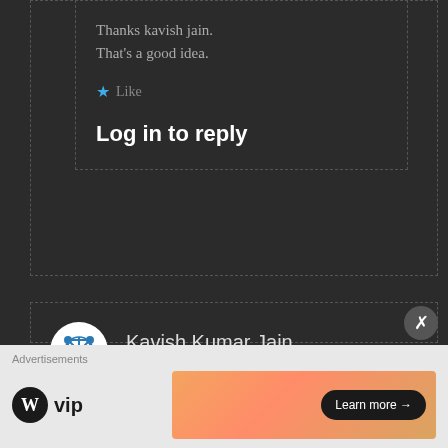Thanks kavish jain. That’s a good idea.
★ Like
Log in to reply
Kavish Kumar Jain
May 15, 2018 · 2:42 pm
Nicely written... Good attempt
Advertisements
[Figure (logo): WordPress VIP logo and advertisement banner with Learn more button]